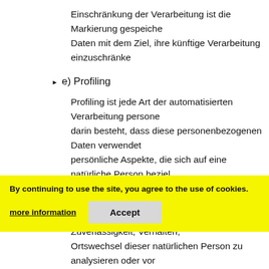Einschränkung der Verarbeitung ist die Markierung gespeichener Daten mit dem Ziel, ihre künftige Verarbeitung einzuschränke
e) Profiling
Profiling ist jede Art der automatisierten Verarbeitung persone darin besteht, dass diese personenbezogenen Daten verwendet persönliche Aspekte, die sich auf eine natürliche Person beziel insbesondere, um Aspekte bezüglich Arbeitsleistung, wirtsch persönlicher Vorlieben, Interessen, Zuverlässigkeit, Verhalten, Ortswechsel dieser natürlichen Person zu analysieren oder vor
f) Pseudonymisierung
Pseudonymisierung ist die Verarbeitung personenbezogener D nicht mehr einer spezifischen Person zugeordnet w diese zusätzlichen Informationen gesondert aufbewahrt werde organisatorischen Maßnahmen unterliegen, die gewährleisten
By continuing to use the site, you agree to the use of cookies.
more information
Accept